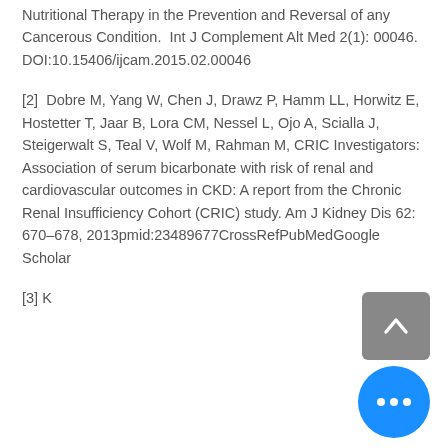Nutritional Therapy in the Prevention and Reversal of any Cancerous Condition. Int J Complement Alt Med 2(1): 00046. DOI:10.15406/ijcam.2015.02.00046
[2] Dobre M, Yang W, Chen J, Drawz P, Hamm LL, Horwitz E, Hostetter T, Jaar B, Lora CM, Nessel L, Ojo A, Scialla J, Steigerwalt S, Teal V, Wolf M, Rahman M, CRIC Investigators: Association of serum bicarbonate with risk of renal and cardiovascular outcomes in CKD: A report from the Chronic Renal Insufficiency Cohort (CRIC) study. Am J Kidney Dis 62: 670–678, 2013pmid:23489677CrossRefPubMedGoogle Scholar
[3] K...